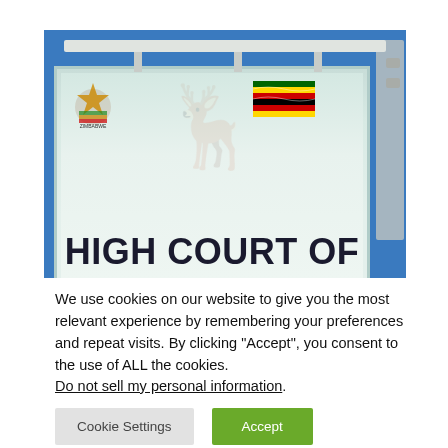[Figure (photo): A sign for the High Court of Zimbabwe. The sign features the Zimbabwe coat of arms on the left, the Zimbabwe flag on the right, and large bold text reading 'HIGH COURT OF' against a light teal/green background. The sign is mounted on a metal frame against a blue sky background.]
We use cookies on our website to give you the most relevant experience by remembering your preferences and repeat visits. By clicking “Accept”, you consent to the use of ALL the cookies.
Do not sell my personal information.